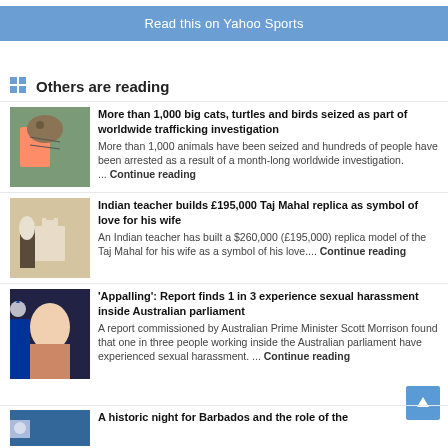Read this on Yahoo Sports
Others are reading
More than 1,000 big cats, turtles and birds seized as part of worldwide trafficking investigation — More than 1,000 animals have been seized and hundreds of people have been arrested as a result of a month-long worldwide investigation. ... Continue reading
Indian teacher builds £195,000 Taj Mahal replica as symbol of love for his wife — An Indian teacher has built a $260,000 (£195,000) replica model of the Taj Mahal for his wife as a symbol of his love.... Continue reading
'Appalling': Report finds 1 in 3 experience sexual harassment inside Australian parliament — A report commissioned by Australian Prime Minister Scott Morrison found that one in three people working inside the Australian parliament have experienced sexual harassment. ... Continue reading
A historic night for Barbados and the role of the